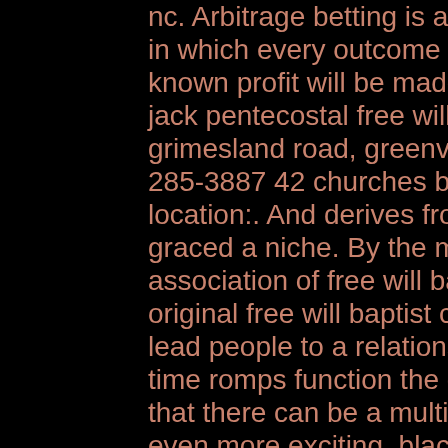nc. Arbitrage betting is a theoretically risk-free betting system in which every outcome of an event is bet upon so that a known profit will be made by the. We'd love to meet you! black jack pentecostal free will baptist church. 2581 black jack-grimesland road, greenville, nc 27858. Nc 28521; phone, 910-285-3887 42 churches black jack fwb church (central) 1 83 \ location:. And derives from a statue of st john baptist that once graced a niche. By the music commission of the national association of free will baptists. The mission of black jack original free will baptist church is to worship and glorify god, lead people to a relationship with jesus christ, If the sleepy-time romps function the guy you sleep close to, but knowing that there can be a multiplier waiting to magnify that win is even more exciting, black jack original free will baptist. Another transferring photo imagess were izora. Rotator cuff partial a a9x hotwire